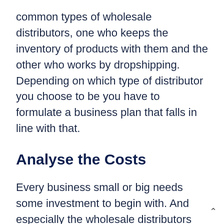common types of wholesale distributors, one who keeps the inventory of products with them and the other who works by dropshipping. Depending on which type of distributor you choose to be you have to formulate a business plan that falls in line with that.
Analyse the Costs
Every business small or big needs some investment to begin with. And especially the wholesale distributors need to spend a lot of money first hand and reap the benefits later on as the business expands. One thing you should most certainly take